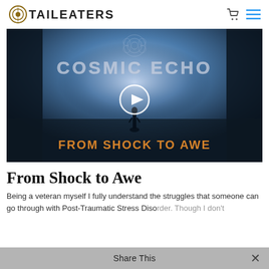TAILEATERS
[Figure (screenshot): Video thumbnail for 'Cosmic Echo: From Shock to Awe' showing a silhouetted figure in a mystical landscape with text 'COSMIC ECHO' at the top and 'FROM SHOCK TO AWE' at the bottom, with a play button in the center.]
From Shock to Awe
Being a veteran myself I fully understand the struggles that someone can go through with Post-Traumatic Stress Disorder. Though I don't
Share This